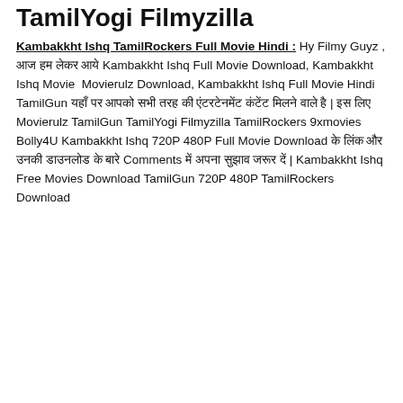TamilYogi Filmyzilla
Kambakkht Ishq TamilRockers Full Movie Hindi : Hy Filmy Guyz , आज हम लेकर आये Kambakkht Ishq Full Movie Download, Kambakkht Ishq Movie  Movierulz Download, Kambakkht Ishq Full Movie Hindi TamilGun यहाँ पर आपको सभी तरह की एंटरटेनमेंट कंटेंट मिलने वाले है | इस लिए Movierulz TamilGun TamilYogi Filmyzilla TamilRockers 9xmovies Bolly4U Kambakkht Ishq 720P 480P Full Movie Download के लिंक और उनकी डाउनलोड के बारे Comments में अपना सुझाव जरूर दें | Kambakkht Ishq Free Movies Download TamilGun 720P 480P TamilRockers Download